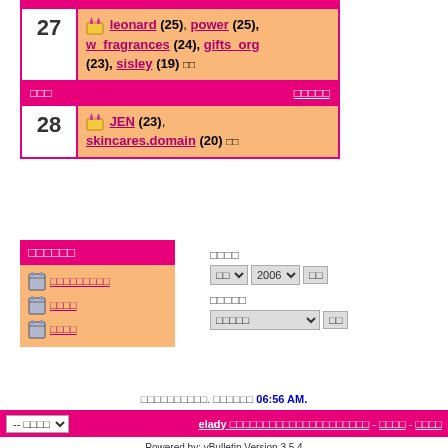| Day | Content |
| --- | --- |
| 27 | leonard (25), power (25), w_fragrances (24), gifts_org (23), sisley (19) □□ |
|  | □□□ | □□□□□ |
| 28 | JEN (23), skincares.domain (20) □□ |
□□□□□□
□□□□□□□□□
□□□□
□□□□
□□□□
□□ ▼  2006 ▼  □□
□□□□□
□□□□□ ▼  □□
□□□□□□□□□□. □□□□□□ 06:56 AM.
-- □□□□ ▼  elady □□□□□□□□□□□□□□□□□□□□ - □□□□ - □□□□
Powered by: vBulletin Version 3.5.4
□□□□ ©2000 - 2022, Jelsoft Enterprises Ltd.
□□□□□□□□□□□□□ □□□□□ □□□□□□□□□□□□□□□□ eMail
eLady□□□□□Tel:06-2828223 □□□□□©2008 All Rights Reserved.